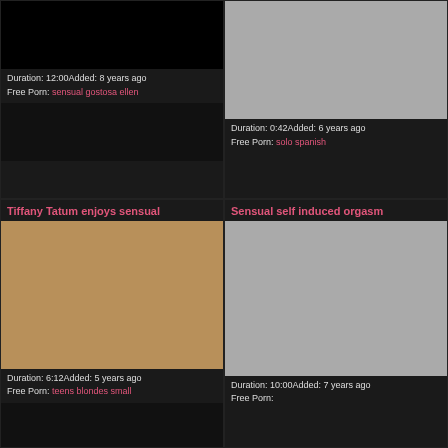[Figure (photo): Black thumbnail for first video]
Duration: 12:00Added: 8 years ago
Free Porn: sensual gostosa ellen
[Figure (photo): Gray thumbnail for second video]
Duration: 0:42Added: 6 years ago
Free Porn: solo spanish
Tiffany Tatum enjoys sensual
[Figure (photo): Photo of couple outdoors on white furniture]
Duration: 6:12Added: 5 years ago
Free Porn: teens blondes small
Sensual self induced orgasm
[Figure (photo): Gray thumbnail for fourth video]
Duration: 10:00Added: 7 years ago
Free Porn: